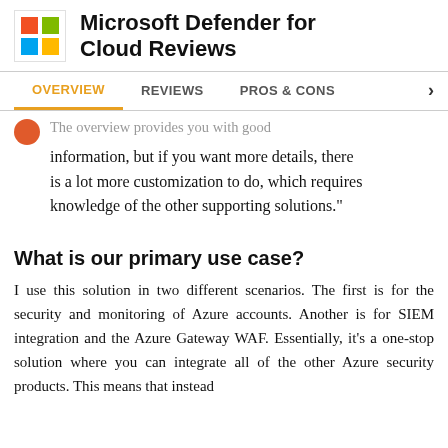Microsoft Defender for Cloud Reviews
OVERVIEW | REVIEWS | PROS & CONS
The overview provides you with good information, but if you want more details, there is a lot more customization to do, which requires knowledge of the other supporting solutions."
What is our primary use case?
I use this solution in two different scenarios. The first is for the security and monitoring of Azure accounts. Another is for SIEM integration and the Azure Gateway WAF. Essentially, it's a one-stop solution where you can integrate all of the other Azure security products. This means that instead